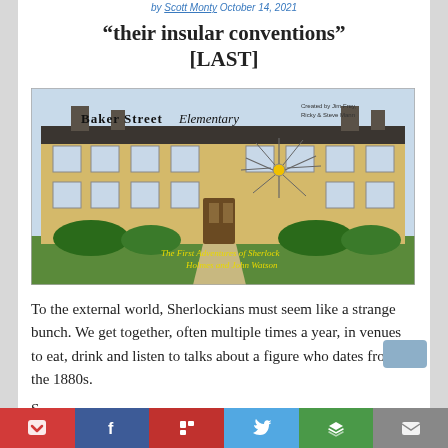by [author] October 14, 2021
“their insular conventions” [LAST]
[Figure (illustration): Baker Street Elementary webcomic header image showing a cartoon illustration of a yellow building (Baker Street) with the title 'Baker Street Elementary' in Gothic and cursive fonts, text 'Created by Jim Frey, Ricky & Steve Mann', subtitle 'The First Adventures of Sherlock Holmes and John Watson' in yellow cursive at the bottom, and a bullet hole/spider web crack in the window.]
To the external world, Sherlockians must seem like a strange bunch. We get together, often multiple times a year, in venues to eat, drink and listen to talks about a figure who dates from the 1880s.
S...